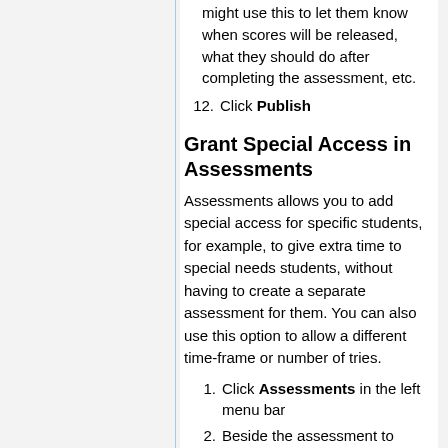might use this to let them know when scores will be released, what they should do after completing the assessment, etc.
12. Click Publish
Grant Special Access in Assessments
Assessments allows you to add special access for specific students, for example, to give extra time to special needs students, without having to create a separate assessment for them. You can also use this option to allow a different time-frame or number of tries.
1. Click Assessments in the left menu bar
2. Beside the assessment to which you want to add special access, click the "grant special access" 🧑‍🎓 icon at the far right of the screen.
3. Click Add
4. The names of all participants appear